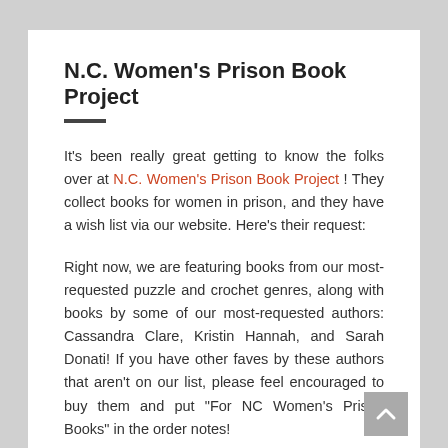N.C. Women's Prison Book Project
It's been really great getting to know the folks over at N.C. Women's Prison Book Project ! They collect books for women in prison, and they have a wish list via our website. Here's their request:
Right now, we are featuring books from our most-requested puzzle and crochet genres, along with books by some of our most-requested authors: Cassandra Clare, Kristin Hannah, and Sarah Donati! If you have other faves by these authors that aren't on our list, please feel encouraged to buy them and put "For NC Women's Prison Books" in the order notes!
Head here to order books, and if you don't know this